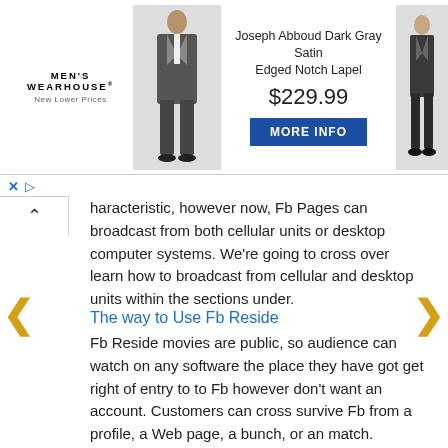[Figure (other): Men's Wearhouse advertisement banner featuring two suit models and a product listing for Joseph Abboud Dark Gray Satin Edged Notch Lapel suit at $229.99 with a MORE INFO button]
haracteristic, however now, Fb Pages can broadcast from both cellular units or desktop computer systems. We're going to cross over learn how to broadcast from cellular and desktop units within the sections under.
The way to Use Fb Reside
Fb Reside movies are public, so audience can watch on any software the place they have got get right of entry to to Fb however don't want an account. Customers can cross survive Fb from a profile, a Web page, a bunch, or an match. Beginning a livestream from the app as opposed to a internet browser might be a bit of other, take a look at the directions for every under.